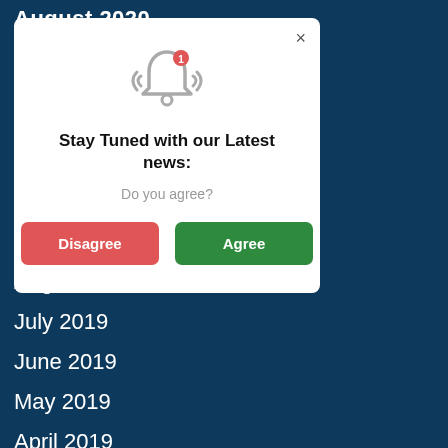August 2020
[Figure (screenshot): Modal popup dialog with bell notification icon, title 'Stay Tuned with our Latest news:', subtitle 'Do you agree?', and two buttons: 'Disagree' (red) and 'Agree' (green), with a close X button.]
August 2019
July 2019
June 2019
May 2019
April 2019
March 2019